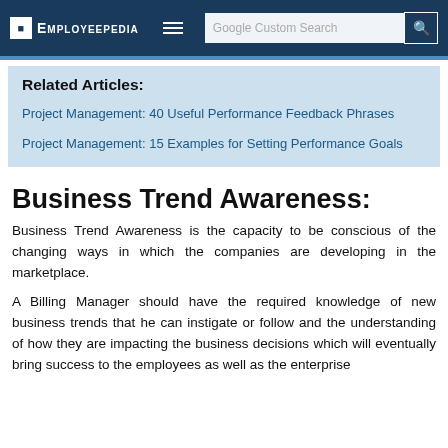Employeepedia | Google Custom Search
Related Articles:
Project Management: 40 Useful Performance Feedback Phrases
Project Management: 15 Examples for Setting Performance Goals
Business Trend Awareness:
Business Trend Awareness is the capacity to be conscious of the changing ways in which the companies are developing in the marketplace.
A Billing Manager should have the required knowledge of new business trends that he can instigate or follow and the understanding of how they are impacting the business decisions which will eventually bring success to the employees as well as the enterprise